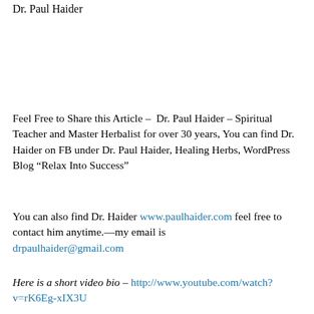Dr. Paul Haider
Feel Free to Share this Article – Dr. Paul Haider – Spiritual Teacher and Master Herbalist for over 30 years, You can find Dr. Haider on FB under Dr. Paul Haider, Healing Herbs, WordPress Blog “Relax Into Success”
You can also find Dr. Haider www.paulhaider.com feel free to contact him anytime.—my email is drpaulhaider@gmail.com
Here is a short video bio – http://www.youtube.com/watch?v=rK6Eg-xIX3U